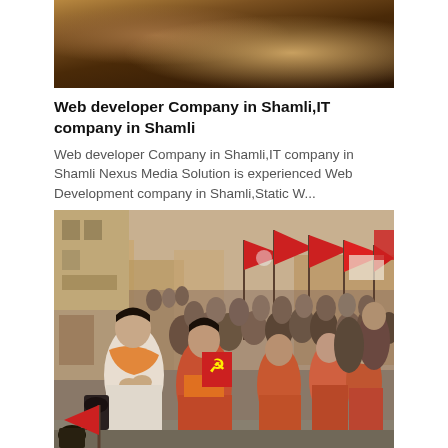[Figure (photo): Top banner photo showing a wooden surface or table with warm brown tones, partially cropped]
Web developer Company in Shamli,IT company in Shamli
Web developer Company in Shamli,IT company in Shamli Nexus Media Solution is experienced Web Development company in Shamli,Static W...
[Figure (photo): A large crowd marching in a street political rally or procession with red flags featuring hammer and sickle symbols. Women in the foreground wear saris and orange scarves, with one woman in a beige sari offering a namaste gesture. Buildings line the street in the background.]